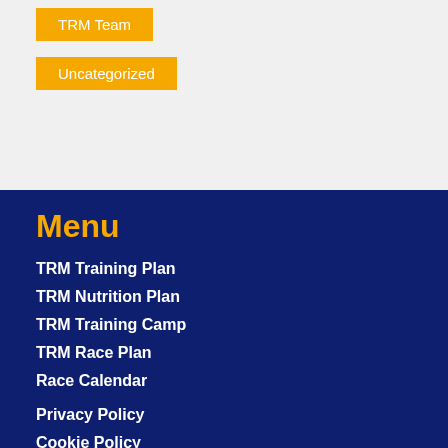TRM Team
Uncategorized
Menu
TRM Training Plan
TRM Nutrition Plan
TRM Training Camp
TRM Race Plan
Race Calendar
Privacy Policy
Cookie Policy